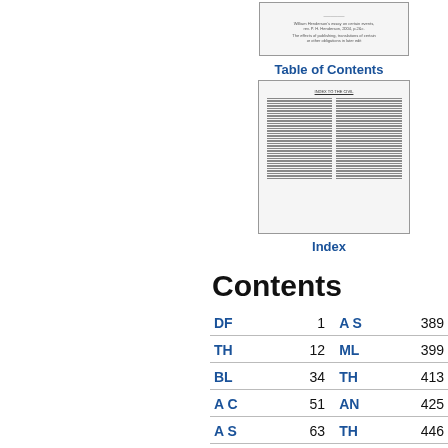[Figure (screenshot): Small thumbnail of a document cover page with text]
Table of Contents
[Figure (screenshot): Large thumbnail of an index page with two columns of text]
Index
Contents
| Entry | Page | Entry | Page |
| --- | --- | --- | --- |
| DF | 1 | A S | 389 |
| TH | 12 | ML | 399 |
| BL | 34 | TH | 413 |
| A C | 51 | AN | 425 |
| A S | 63 | TH | 446 |